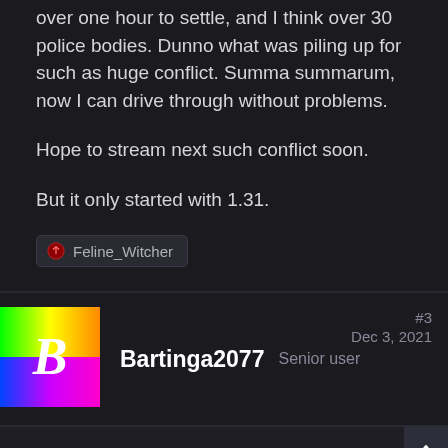over one hour to settle, and I think over 30 police bodies. Dunno what was piling up for such as huge conflict. Summa summarum, now I can drive through without problems.
Hope to stream next such conflict soon.
But it only started with 1.31.
Feline_Witcher
[Figure (illustration): Colorful rainbow gradient avatar with a bold white letter B on it]
Bartinga2077  Senior user  #3  Dec 3, 2021
JuliaNix said:  I honestly don't know if this is a new feature of reputation